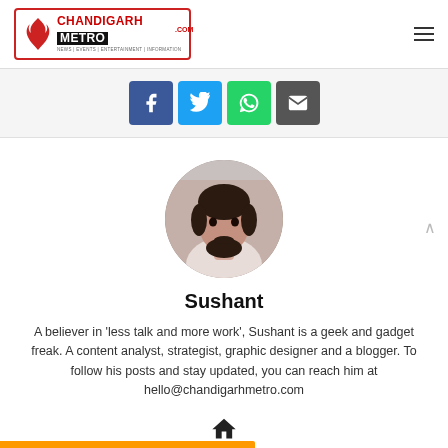ChandigarhMetro.com — NEWS | EVENTS | ENTERTAINMENT | INFORMATION
[Figure (infographic): Social share buttons: Facebook (blue), Twitter (light blue), WhatsApp (green), Email (dark gray)]
[Figure (photo): Circular profile photo of Sushant, a young man with a beard]
Sushant
A believer in 'less talk and more work', Sushant is a geek and gadget freak. A content analyst, strategist, graphic designer and a blogger. To follow his posts and stay updated, you can reach him at hello@chandigarhmetro.com